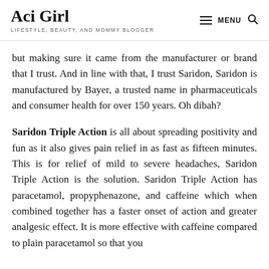Aci Girl
LIFESTYLE, BEAUTY, AND MOMMY BLOGGER
but making sure it came from the manufacturer or brand that I trust. And in line with that, I trust Saridon, Saridon is manufactured by Bayer, a trusted name in pharmaceuticals and consumer health for over 150 years. Oh dibah?
Saridon Triple Action is all about spreading positivity and fun as it also gives pain relief in as fast as fifteen minutes. This is for relief of mild to severe headaches, Saridon Triple Action is the solution. Saridon Triple Action has paracetamol, propyphenazone, and caffeine which when combined together has a faster onset of action and greater analgesic effect. It is more effective with caffeine compared to plain paracetamol so that you